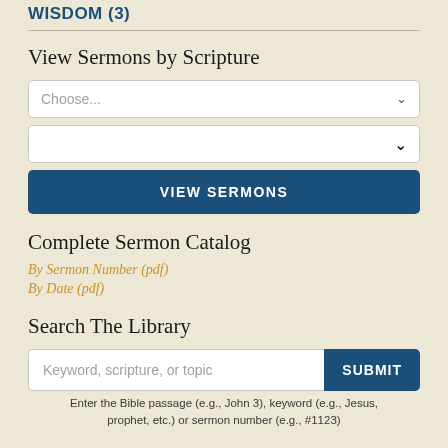WISDOM (3)
View Sermons by Scripture
Choose... [dropdown]
[second dropdown]
VIEW SERMONS
Complete Sermon Catalog
By Sermon Number (pdf)
By Date (pdf)
Search The Library
Keyword, scripture, or topic [SUBMIT button]
Enter the Bible passage (e.g., John 3), keyword (e.g., Jesus, prophet, etc.) or sermon number (e.g., #1123)